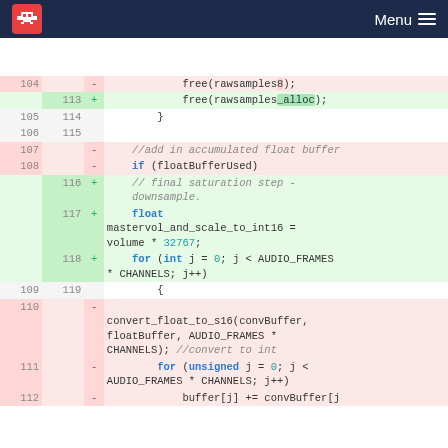Menu
[Figure (screenshot): Code diff view showing changes to audio processing code. Lines 104-112 on old side, lines 113-119 on new side. Removed lines show free(rawsamples8), //add in accumulated float buffer, if (floatBufferUsed), and convert_float_to_s16 call. Added lines show free(rawsamples_alloc), // final saturation step - downsample., float mastervol_and_scale_to_int16 = volume * 32767;, and for loop.]